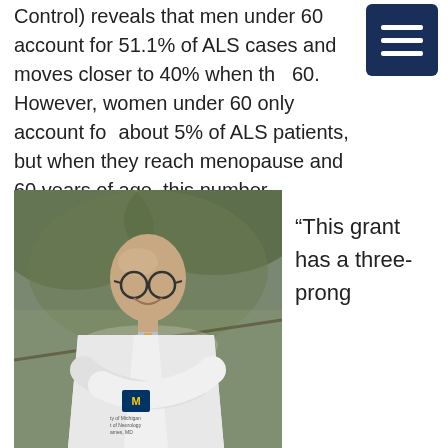Control) reveals that men under 60 account for 51.1% of ALS cases and moves closer to 40% when the 60. However, women under 60 only account for about 5% of ALS patients, but when they reach menopause and 60 years of age, this number skyrockets to closer to 30%.
[Figure (photo): A smiling bald man wearing glasses and a white doctor's coat with a yellow tie, arms crossed, standing outdoors under trees. University of Michigan Department of Neurology badge visible.]
“This grant has a three-prong